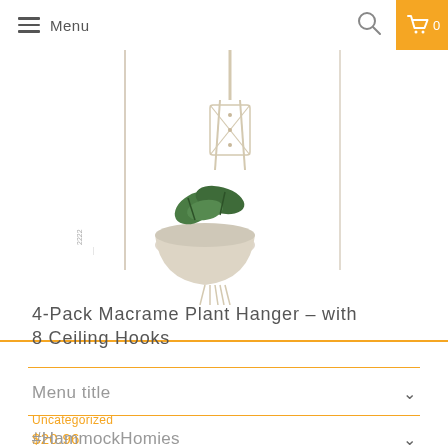Menu
[Figure (photo): 4-pack macrame plant hangers displayed hanging, with a potted plant and decorative knotted holders in cream/white color]
4-Pack Macrame Plant Hanger – with 8 Ceiling Hooks
Uncategorized
$20.96
Menu title
#HammockHomies